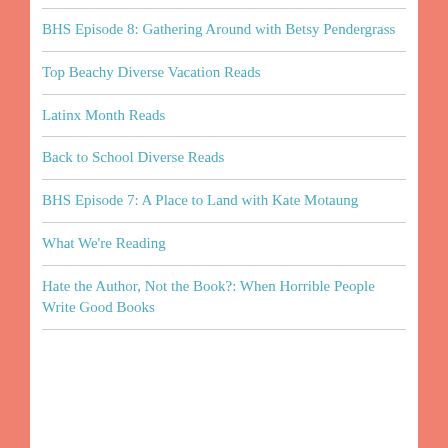BHS Episode 8: Gathering Around with Betsy Pendergrass
Top Beachy Diverse Vacation Reads
Latinx Month Reads
Back to School Diverse Reads
BHS Episode 7: A Place to Land with Kate Motaung
What We're Reading
Hate the Author, Not the Book?: When Horrible People Write Good Books